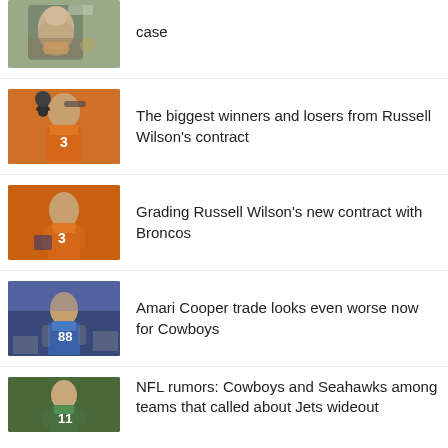[Figure (photo): Partial article thumbnail - coach holding football]
case
[Figure (photo): Russell Wilson in Denver Broncos orange uniform, number 3, wearing headphones]
The biggest winners and losers from Russell Wilson's contract
[Figure (photo): Russell Wilson in Denver Broncos uniform number 3, action pose on field]
Grading Russell Wilson's new contract with Broncos
[Figure (photo): Amari Cooper in Cowboys uniform at stadium]
Amari Cooper trade looks even worse now for Cowboys
[Figure (photo): NFL player in green Jets uniform]
NFL rumors: Cowboys and Seahawks among teams that called about Jets wideout